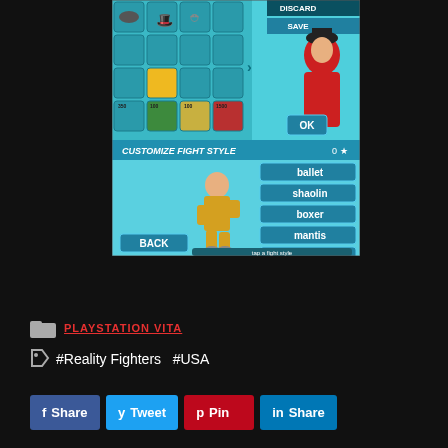[Figure (screenshot): Video game screenshot showing 'Reality Fighters' on PlayStation Vita. Top half shows character customization with hat accessories grid and a character in red outfit. Bottom half shows 'CUSTOMIZE FIGHT STYLE' screen with options: ballet, shaolin, boxer, mantis, zombie. Character in yellow outfit is shown in fighting stance. BACK button and 'tap a fight style' instruction visible.]
PLAYSTATION VITA
#Reality Fighters  #USA
f Share
y Tweet
p Pin
in Share